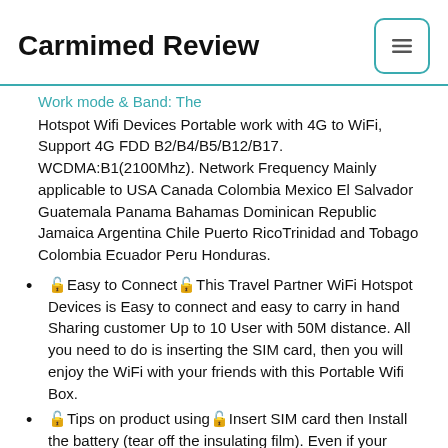Carmimed Review
Work mode & Band: The
Hotspot Wifi Devices Portable work with 4G to WiFi, Support 4G FDD B2/B4/B5/B12/B17. WCDMA:B1(2100Mhz). Network Frequency Mainly applicable to USA Canada Colombia Mexico El Salvador Guatemala Panama Bahamas Dominican Republic Jamaica Argentina Chile Puerto RicoTrinidad and Tobago Colombia Ecuador Peru Honduras.
🔓Easy to Connect🔓This Travel Partner WiFi Hotspot Devices is Easy to connect and easy to carry in hand Sharing customer Up to 10 User with 50M distance. All you need to do is inserting the SIM card, then you will enjoy the WiFi with your friends with this Portable Wifi Box.
🔓Tips on product using🔓Insert SIM card then Install the battery (tear off the insulating film). Even if your